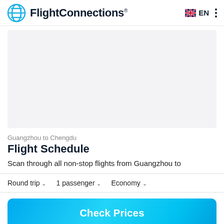FlightConnections® EN
[Figure (other): Map or advertisement placeholder area with light grey background]
Guangzhou to Chengdu
Flight Schedule
Scan through all non-stop flights from Guangzhou to
Round trip  1 passenger  Economy
Check Prices